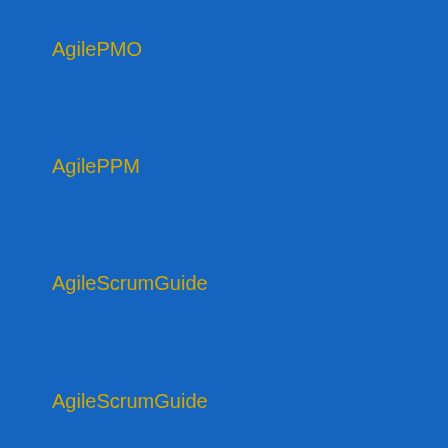AgilePMO
AgilePPM
AgileScrumGuide
AgileScrumGuide
AgileScrumGuide.com
AgileSpeaker
Agilist
Agility
Agility